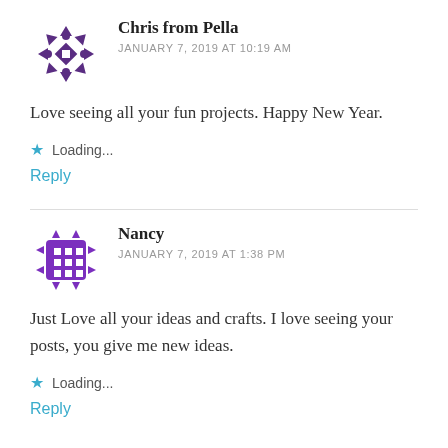Chris from Pella
JANUARY 7, 2019 AT 10:19 AM
Love seeing all your fun projects. Happy New Year.
Loading...
Reply
Nancy
JANUARY 7, 2019 AT 1:38 PM
Just Love all your ideas and crafts. I love seeing your posts, you give me new ideas.
Loading...
Reply